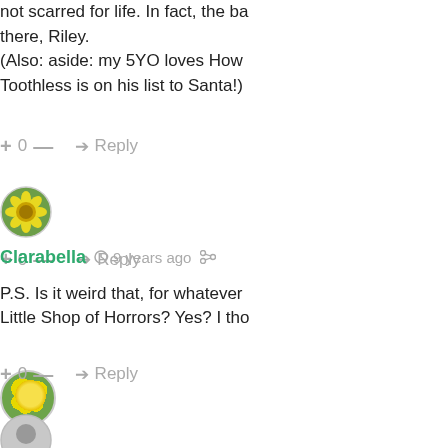not scarred for life. In fact, the ba there, Riley.
(Also: aside: my 5YO loves How Toothless is on his list to Santa!)
+ 0 — → Reply
[Figure (photo): Round avatar with flower/sunflower image on green background]
Clarabella  9 years ago
P.S. Is it weird that, for whatever Little Shop of Horrors? Yes? I tho
+ 0 — → Reply
[Figure (photo): Generic grey user avatar silhouette]
Sarah  9 years ago
Oh!! This made my heart break ju needs to be held down for basic...